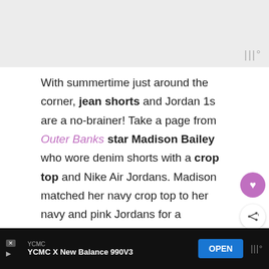[Figure (photo): Image placeholder at the top of the article, light gray background with a small watermark/icon in the bottom right corner]
With summertime just around the corner, jean shorts and Jordan 1s are a no-brainer! Take a page from Outer Banks star Madison Bailey who wore denim shorts with a crop top and Nike Air Jordans. Madison matched her navy crop top to her navy and pink Jordans for a coordinated look.
This simple yet statement-making outfit is
[Figure (other): Ad banner at the bottom: YCMC X New Balance 990V3 with OPEN button]